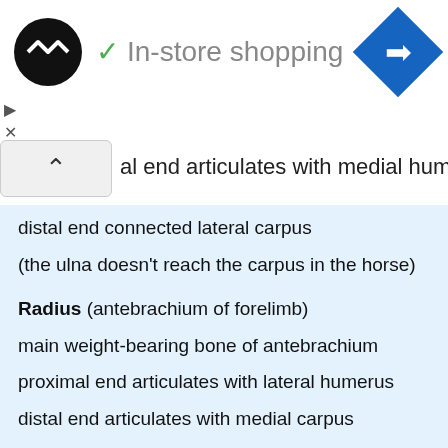[Figure (screenshot): In-store shopping UI banner with logo, checkmark label, and navigation icon]
al end articulates with medial humerus
distal end connected lateral carpus
(the ulna doesn't reach the carpus in the horse)
Radius (antebrachium of forelimb)
main weight-bearing bone of antebrachium
proximal end articulates with lateral humerus
distal end articulates with medial carpus
(radius and ulna also articulate with each other, allowing some rotational movement of the forepaw)